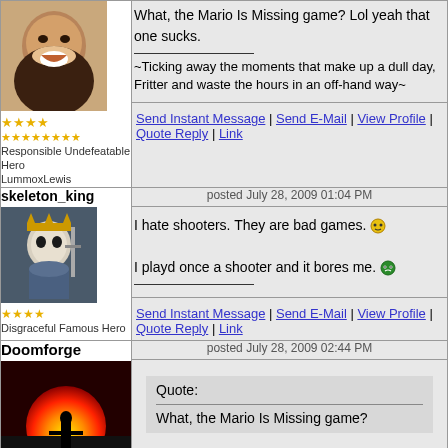[Figure (photo): Avatar of LummoxLewis - laughing person photo]
Responsible Undefeatable Hero
LummoxLewis
What, the Mario Is Missing game? Lol yeah that one sucks.

~Ticking away the moments that make up a dull day, Fritter and waste the hours in an off-hand way~
Send Instant Message | Send E-Mail | View Profile | Quote Reply | Link
skeleton_king
[Figure (photo): Avatar of skeleton_king - skeletal warrior image]
Disgraceful Famous Hero
posted July 28, 2009 01:04 PM
I hate shooters. They are bad games.
I playd once a shooter and it bores me.
Send Instant Message | Send E-Mail | View Profile | Quote Reply | Link
Doomforge
[Figure (photo): Avatar of Doomforge - dramatic sunset silhouette image]
posted July 28, 2009 02:44 PM
Quote:
What, the Mario Is Missing game?